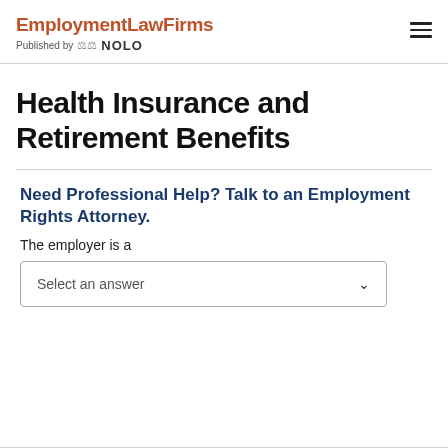EmploymentLawFirms Published by NOLO
Health Insurance and Retirement Benefits
Need Professional Help? Talk to an Employment Rights Attorney.
The employer is a
Select an answer